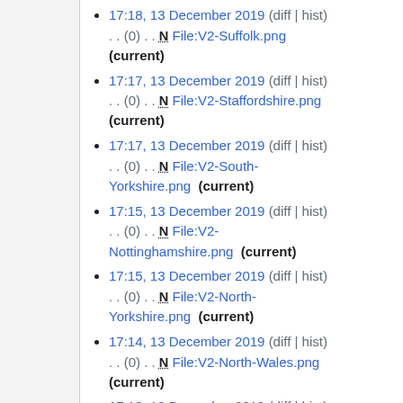17:18, 13 December 2019 (diff | hist) . . (0) . . N File:V2-Suffolk.png (current)
17:17, 13 December 2019 (diff | hist) . . (0) . . N File:V2-Staffordshire.png (current)
17:17, 13 December 2019 (diff | hist) . . (0) . . N File:V2-South-Yorkshire.png (current)
17:15, 13 December 2019 (diff | hist) . . (0) . . N File:V2-Nottinghamshire.png (current)
17:15, 13 December 2019 (diff | hist) . . (0) . . N File:V2-North-Yorkshire.png (current)
17:14, 13 December 2019 (diff | hist) . . (0) . . N File:V2-North-Wales.png (current)
17:13, 13 December 2019 (diff | hist) . . (0) . . N File:V2-Northumbria.png